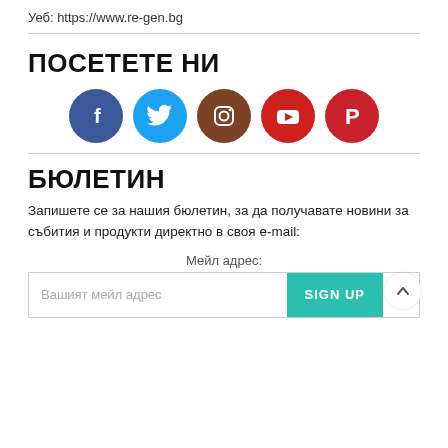Уеб: https://www.re-gen.bg
ПОСЕТЕТЕ НИ
[Figure (infographic): Row of five social media icon circles: Facebook (dark blue), Twitter (cyan), Instagram (brown), YouTube (red), Pinterest (red)]
БЮЛЕТИН
Запишете се за нашия бюлетин, за да получавате новини за събития и продукти директно в своя e-mail:
Мейл адрес:
Вашият мейл адрес